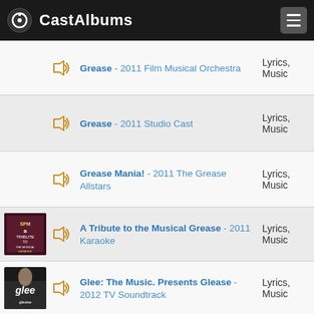CastAlbums
Grease - 2011 Film Musical Orchestra | Lyrics, Music
Grease - 2011 Studio Cast | Lyrics, Music
Grease Mania! - 2011 The Grease Allstars | Lyrics, Music
A Tribute to the Musical Grease - 2011 Karaoke | Lyrics, Music
Glee: The Music. Presents Glease - 2012 TV Soundtrack | Lyrics, Music
Grease - 2012 Danish Cast | Lyrics, Music
The Great Music Of Grease - | Lyrics,